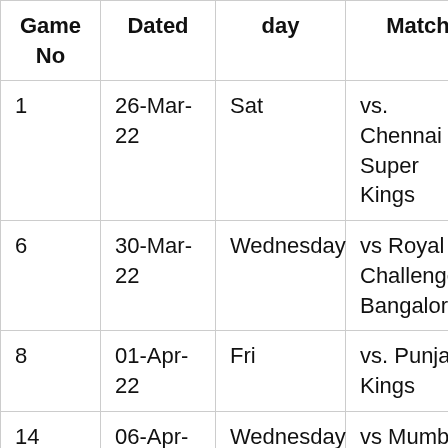| Game No | Dated | day | Match | Tim |
| --- | --- | --- | --- | --- |
| 1 | 26-Mar-22 | Sat | vs. Chennai Super Kings | 7:30 PM |
| 6 | 30-Mar-22 | Wednesday | vs Royal Challengers Bangalore | 7:30 PM |
| 8 | 01-Apr-22 | Fri | vs. Punjab Kings | 7:30 PM |
| 14 | 06-Apr-22 | Wednesday | vs Mumbai Indians | 7:30 PM |
| 19 | 10- | Sun | vs Delhi | 3:30 |